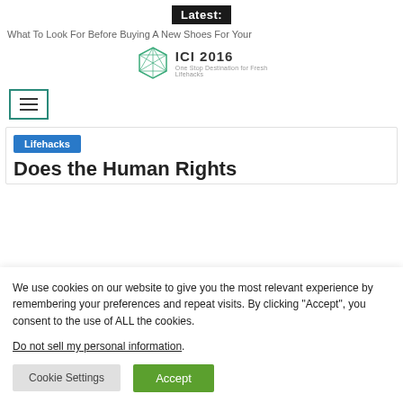Latest:
What To Look For Before Buying A New Shoes For Your
[Figure (logo): ICI 2016 logo with hexagon geometric icon and tagline 'One Stop Destination for Fresh Lifehacks']
[Figure (other): Hamburger menu icon inside a teal/green outlined square box]
Lifehacks
Does the Human Rights
We use cookies on our website to give you the most relevant experience by remembering your preferences and repeat visits. By clicking “Accept”, you consent to the use of ALL the cookies.
Do not sell my personal information.
Cookie Settings
Accept